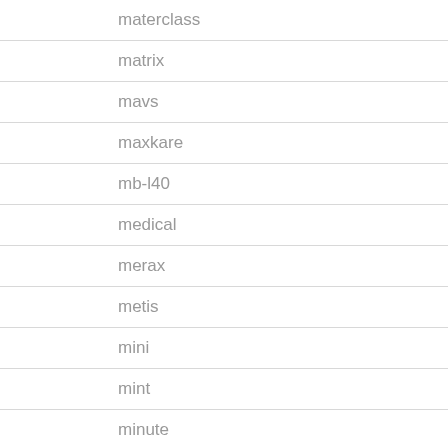materclass
matrix
mavs
maxkare
mb-l40
medical
merax
metis
mini
mint
minute
minutes